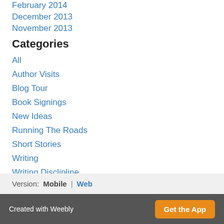February 2014
December 2013
November 2013
Categories
All
Author Visits
Blog Tour
Book Signings
New Ideas
Running The Roads
Short Stories
Writing
Writing Disclipline
Writing Query Letters
RSS Feed
Version: Mobile | Web
Created with Weebly  Get the App